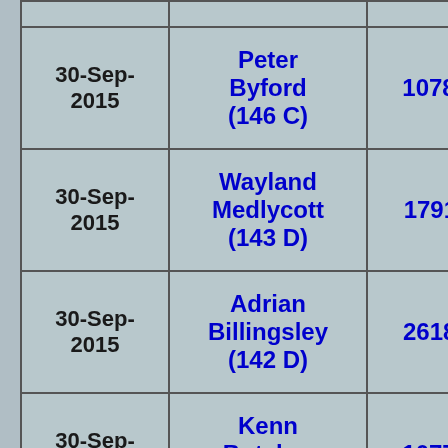| Date | Name (Score) | ID | Ref |
| --- | --- | --- | --- |
| 30-Sep-2015 | Peter Byford (146 C) | 107842C | B 223… |
| 30-Sep-2015 | Wayland Medlycott (143 D) | 179182F | B 218… |
| 30-Sep-2015 | Adrian Billingsley (142 D) | 261811E | B 217… |
| 30-Sep-2015 | Kenn Butcher (136 D) | 107791A | B 217… |